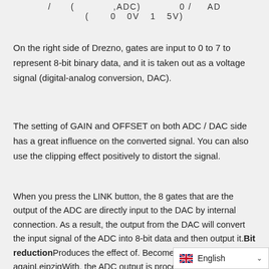On the right side of Drezno, gates are input to 0 to 7 to represent 8-bit binary data, and it is taken out as a voltage signal (digital-analog conversion, DAC).
The setting of GAIN and OFFSET on both ADC / DAC side has a great influence on the converted signal. You can also use the clipping effect positively to distort the signal.
When you press the LINK button, the 8 gates that are the output of the ADC are directly input to the DAC by internal connection. As a result, the output from the DAC will convert the input signal of the ADC into 8-bit data and then output it.Bit reductionProduces the effect of. Become an expander againLeipzigWith, the ADC output is processed by Lipsk and then internally connected to the DAC input in link mode.
English